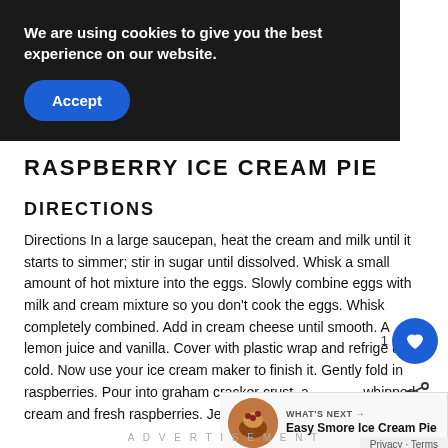We are using cookies to give you the best experience on our website. Accept
RASPBERRY ICE CREAM PIE
DIRECTIONS
Directions In a large saucepan, heat the cream and milk until it starts to simmer; stir in sugar until dissolved. Whisk a small amount of hot mixture into the eggs. Slowly combine eggs with milk and cream mixture so you don't cook the eggs. Whisk completely combined. Add in cream cheese until smooth. Add lemon juice and vanilla. Cover with plastic wrap and refrigerate until cold. Now use your ice cream maker to finish it. Gently fold in raspberries. Pour into graham cracker crust, add whipped cream and fresh raspberries. Jessica 🙂
ADVERTISEMENT